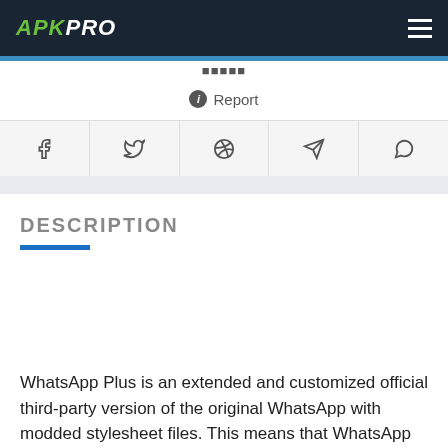APKPRO
Report
[Figure (other): Social share buttons: Facebook, Twitter, Pinterest, Telegram, WhatsApp]
DESCRIPTION
WhatsApp Plus is an extended and customized official third-party version of the original WhatsApp with modded stylesheet files. This means that WhatsApp Plus has its own servers and all your conversations and MSAGs are transmitted through